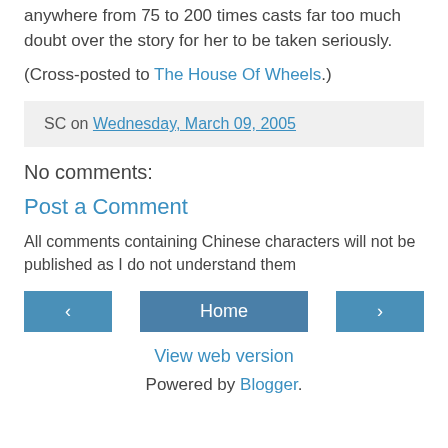anywhere from 75 to 200 times casts far too much doubt over the story for her to be taken seriously.
(Cross-posted to The House Of Wheels.)
SC on Wednesday, March 09, 2005
No comments:
Post a Comment
All comments containing Chinese characters will not be published as I do not understand them
‹  Home  ›
View web version
Powered by Blogger.